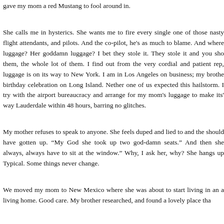gave my mom a red Mustang to fool around in.
She calls me in hysterics. She wants me to fire every single one of those nasty flight attendants, and pilots. And the co-pilot, he's as much to blame. And where luggage? Her goddamn luggage? I bet they stole it. They stole it and you sho them, the whole lot of them. I find out from the very cordial and patient rep, luggage is on its way to New York. I am in Los Angeles on business; my brothe birthday celebration on Long Island. Nether one of us expected this hailstorm. I try with the airport bureaucracy and arrange for my mom's luggage to make its' way Lauderdale within 48 hours, barring no glitches.
My mother refuses to speak to anyone. She feels duped and lied to and the should have gotten up. "My God she took up two god-damn seats." And then she always, always have to sit at the window." Why, I ask her, why? She hangs up Typical. Some things never change.
We moved my mom to New Mexico where she was about to start living in an a living home. Good care. My brother researched, and found a lovely place tha